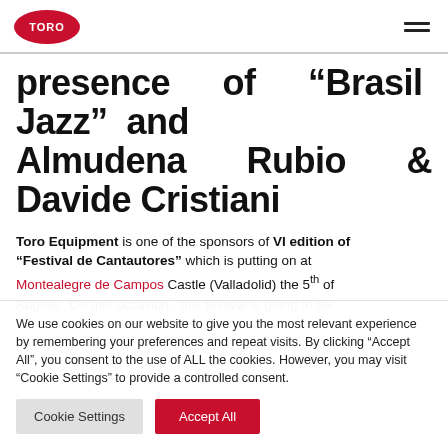TORO [logo] [hamburger menu]
presence of “Brasil Jazz” and Almudena Rubio & Davide Cristiani
Toro Equipment is one of the sponsors of VI edition of “Festival de Cantautores” which is putting on at Montealegre de Campos Castle (Valladolid) the 5th of August. On this occasion, this festival is going to be
We use cookies on our website to give you the most relevant experience by remembering your preferences and repeat visits. By clicking “Accept All”, you consent to the use of ALL the cookies. However, you may visit “Cookie Settings” to provide a controlled consent.